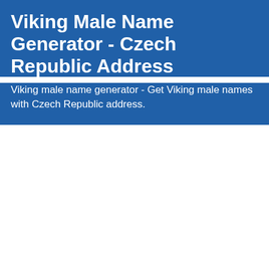Viking Male Name Generator - Czech Republic Address
Viking male name generator - Get Viking male names with Czech Republic address.